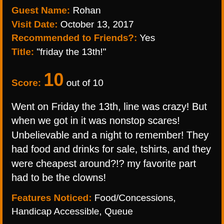Guest Name: Rohan
Visit Date: October 13, 2017
Recommended to Friends?: Yes
Title: "friday the 13th!"
Score: 10 out of 10
Went on Friday the 13th, line was crazy! But when we got in it was nonstop scares! Unbelievable and a night to remember! They had food and drinks for sale, tshirts, and they were cheapest around?!? my favorite part had to be the clowns!
Features Noticed: Food/Concessions, Handicap Accessible, Queue